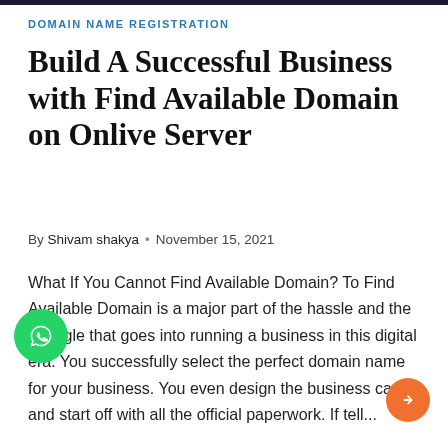DOMAIN NAME REGISTRATION
Build A Successful Business with Find Available Domain on Onlive Server
By Shivam shakya  •  November 15, 2021
What If You Cannot Find Available Domain? To Find Available Domain is a major part of the hassle and the struggle that goes into running a business in this digital era. You successfully select the perfect domain name for your business. You even design the business cards and start off with all the official paperwork. If tell...